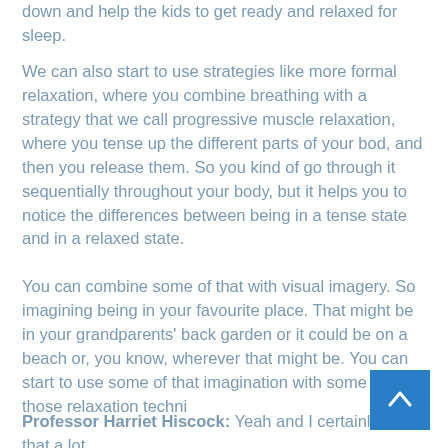down and help the kids to get ready and relaxed for sleep.
We can also start to use strategies like more formal relaxation, where you combine breathing with a strategy that we call progressive muscle relaxation, where you tense up the different parts of your bod, and then you release them. So you kind of go through it sequentially throughout your body, but it helps you to notice the differences between being in a tense state and in a relaxed state.
You can combine some of that with visual imagery. So imagining being in your favourite place. That might be in your grandparents' back garden or it could be on a beach or, you know, wherever that might be. You can start to use some of that imagination with some of those relaxation techni…
Professor Harriet Hiscock: Yeah and I certainly use that a lot